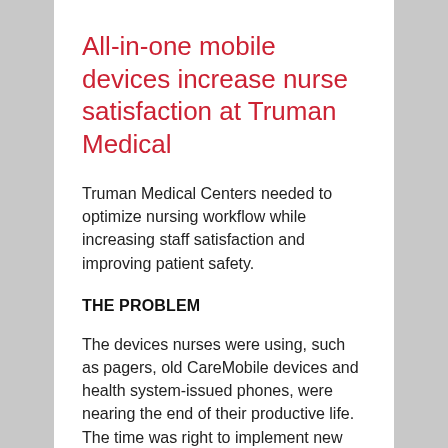All-in-one mobile devices increase nurse satisfaction at Truman Medical
Truman Medical Centers needed to optimize nursing workflow while increasing staff satisfaction and improving patient safety.
THE PROBLEM
The devices nurses were using, such as pagers, old CareMobile devices and health system-issued phones, were nearing the end of their productive life. The time was right to implement new mobile technology, with a